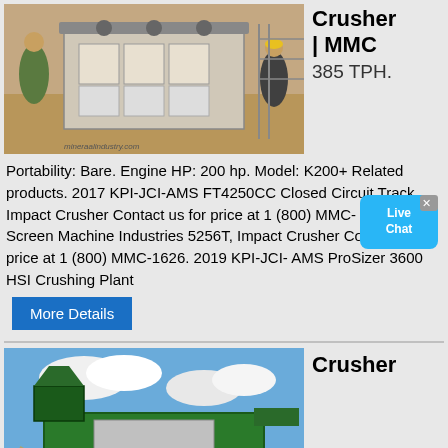[Figure (photo): Construction site with workers and a large jaw crusher machine, sandy/dirt environment]
Crusher | MMC 385 TPH.
Portability: Bare. Engine HP: 200 hp. Model: K200+ Related products. 2017 KPI-JCI-AMS FT4250CC Closed Circuit Track, Impact Crusher Contact us for price at 1 (800) MMC-1626. 2020 Screen Machine Industries 5256T, Impact Crusher Contact us for price at 1 (800) MMC-1626. 2019 KPI-JCI-AMS ProSizer 3600 HSI Crushing Plant
More Details
[Figure (photo): Green mobile crusher/screening machine on a dirt/aggregate site with blue sky and clouds]
Crusher
Aggregate Equipment For Sale